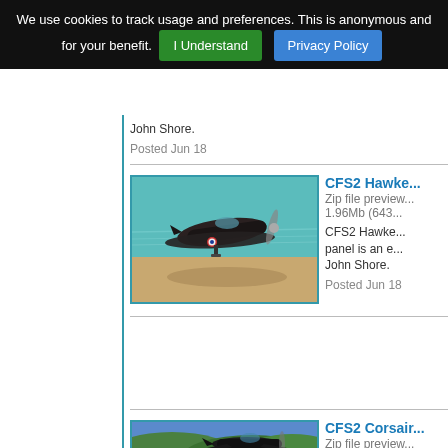We use cookies to track usage and preferences. This is anonymous and for your benefit. I Understand  Privacy Policy
John Shore.
Posted Jun 1
[Figure (photo): CFS2 Hawker aircraft screenshot showing WWII plane in flight with teal/blue background and sandy ground]
CFS2 Hawke...
Zip file preview... 1.96Mb (643...
CFS2 Hawke... panel is an e... John Shore.
Posted Jun 1
[Figure (photo): CFS2 Corsair aircraft screenshot showing plane over green hilly terrain]